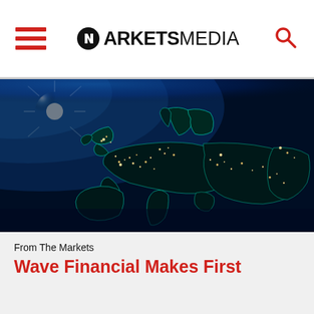MARKETS MEDIA
[Figure (photo): Satellite view of Europe at night from space, showing city lights and coastlines with a bright sun or star visible in the upper left, dark ocean areas showing teal/cyan bioluminescence at coastlines]
From The Markets
Wave Financial Makes First Acquisition In...